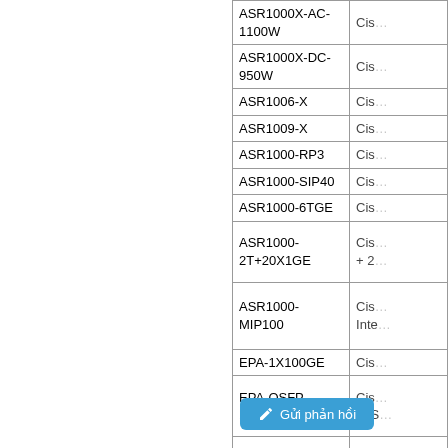| Product | Description |
| --- | --- |
| ASR1000X-AC-1100W | Cis… |
| ASR1000X-DC-950W | Cis… |
| ASR1006-X | Cis… |
| ASR1009-X | Cis… |
| ASR1000-RP3 | Cis… |
| ASR1000-SIP40 | Cis… |
| ASR1000-6TGE | Cis… |
| ASR1000-2T+20X1GE | Cis…
+ 2… |
| ASR1000-MIP100 | Cis…
Inte… |
| EPA-1X100GE | Cis… |
| EPA-QSFP-1X100GE | Cis…
(QS… |
| L-FLA1-EPA-1X40GE | Cis…
EPA… |
| EP… | Cis… |